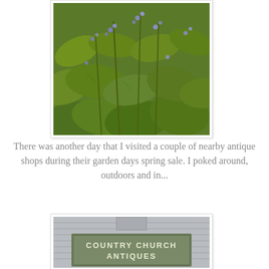[Figure (photo): Close-up photo of green leafy plants with purple/blue flowers, resembling catmint or nepeta, showing dense foliage with multiple stems and small blooms]
There was another day that I visited a couple of nearby antique shops during their garden days spring sale. I poked around, outdoors and in...
[Figure (photo): Photo of a building exterior with gray siding and a sign reading 'COUNTRY CHURCH ANTIQUES']